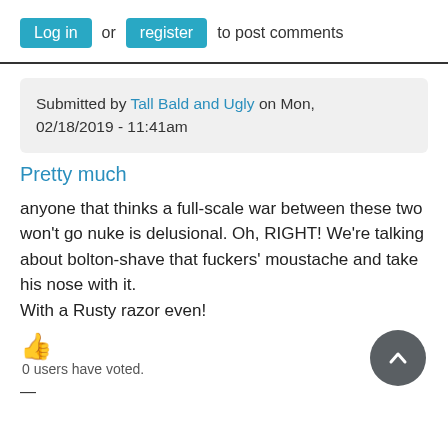Log in or register to post comments
Submitted by Tall Bald and Ugly on Mon, 02/18/2019 - 11:41am
Pretty much
anyone that thinks a full-scale war between these two won't go nuke is delusional. Oh, RIGHT! We're talking about bolton-shave that fuckers' moustache and take his nose with it.
With a Rusty razor even!
0 users have voted.
—